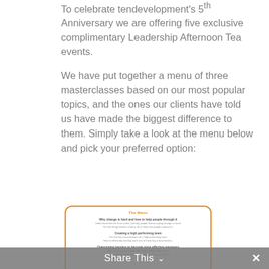To celebrate tendevelopment's 5th Anniversary we are offering five exclusive complimentary Leadership Afternoon Tea events.
We have put together a menu of three masterclasses based on our most popular topics, and the ones our clients have told us have made the biggest difference to them. Simply take a look at the menu below and pick your preferred option:
[Figure (other): A menu card with orange rounded border. Title 'The Menu' in orange. Three sections: 'Why change is hard and how to help people through it' with subtext, 'Creating a high performing team' with subtext, and 'Overcoming barriers to...' with subtext.]
Share This